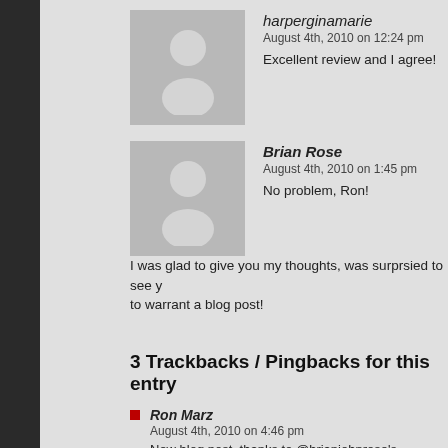harperginamarie
August 4th, 2010 on 12:24 pm
Excellent review and I agree!
Brian Rose
August 4th, 2010 on 1:45 pm
No problem, Ron!
I was glad to give you my thoughts, was surprsied to see y... to warrant a blog post!
3 Trackbacks / Pingbacks for this entry
Ron Marz
August 4th, 2010 on 4:46 pm
New blog post, thanks to @brianjohnrose's Samurai review: http://ronm... heaven-and-earth-vol-1-2-review/
Top Cow Productions
August 4th, 2010 on 7:27 pm
New blog post, thanks to @brianjohnrose's Samurai review: http://bit.ly...